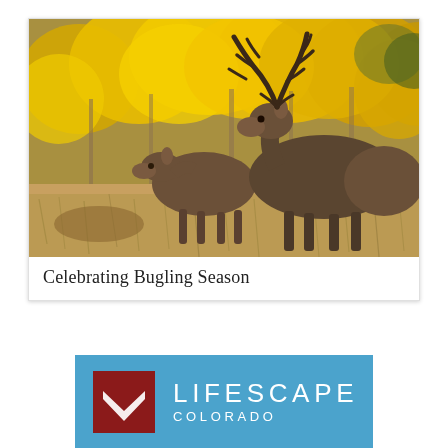[Figure (photo): Two elk (one smaller, one large bull with antlers) standing in tall golden grass with bright yellow aspen trees in the background — a Colorado fall bugling season scene.]
Celebrating Bugling Season
[Figure (logo): Lifescape Colorado logo: dark red square icon with a white heart/chevron shape, text LIFESCAPE in large white spaced letters and COLORADO below, on a blue sky background with a hint of green tree tops.]